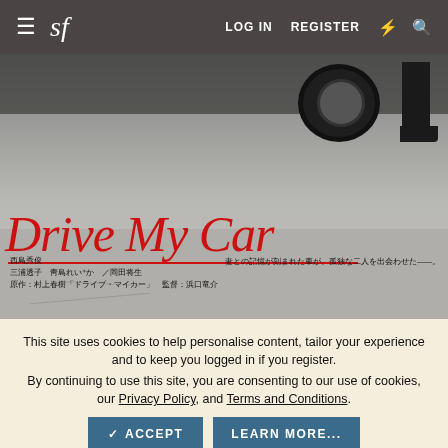sf   LOG IN   REGISTER
[Figure (photo): Movie poster for Drive My Car (Japanese film). Shows bottom of a car with a tire visible and a person's leg/feet in dark clothing. Large red cursive script reads 'Drive My Car'. Japanese text credits below including cast and director names.]
This site uses cookies to help personalise content, tailor your experience and to keep you logged in if you register.
By continuing to use this site, you are consenting to our use of cookies, our Privacy Policy, and Terms and Conditions.
ACCEPT   LEARN MORE...
Oscar material.
Last edited: Feb 7, 2022
King Calder